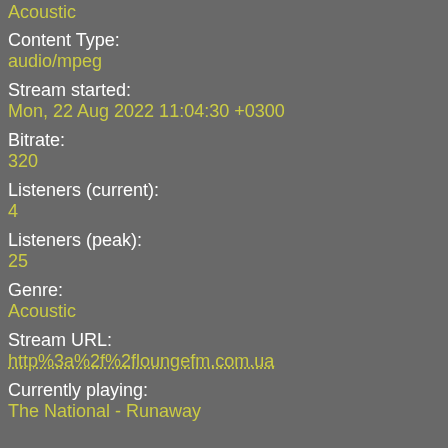Acoustic
Content Type:
audio/mpeg
Stream started:
Mon, 22 Aug 2022 11:04:30 +0300
Bitrate:
320
Listeners (current):
4
Listeners (peak):
25
Genre:
Acoustic
Stream URL:
http%3a%2f%2floungefm.com.ua
Currently playing:
The National - Runaway